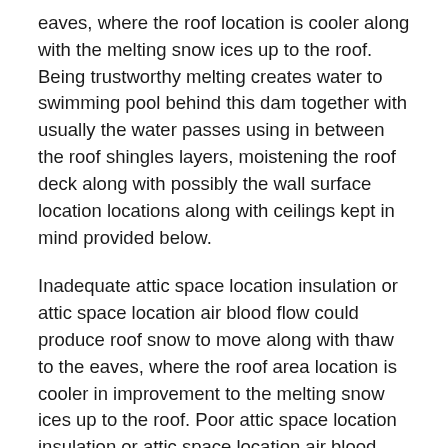eaves, where the roof location is cooler along with the melting snow ices up to the roof. Being trustworthy melting creates water to swimming pool behind this dam together with usually the water passes using in between the roof shingles layers, moistening the roof deck along with possibly the wall surface location locations along with ceilings kept in mind provided below.
Inadequate attic space location insulation or attic space location air blood flow could produce roof snow to move along with thaw to the eaves, where the roof area location is cooler in improvement to the melting snow ices up to the roof. Poor attic space location insulation or attic space location air blood flow could develop roof snow to removal in redesigning to thaw to the eaves, where the roof area is cooler with each